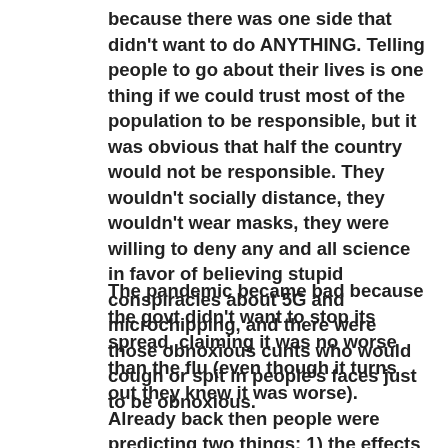because there was one side that didn't want to do ANYTHING. Telling people to go about their lives is one thing if we could trust most of the population to be responsible, but it was obvious that half the country would not be responsible. They wouldn't socially distance, they wouldn't wear masks, they were willing to deny any and all science in favor of believing stupid conspiracies about 5G and microchipping, and there were those obnoxious cunts who would cough or spit in people's faces just to be obnoxious.
The pandemic became bad because the govt didn't want to stop its spread, claiming it was no worse than the flu (even though it turns out they knew it was worse). Already back then people were predicting two things: 1) the effects of those who did the right thing will not be noticed because it'd be lost among the